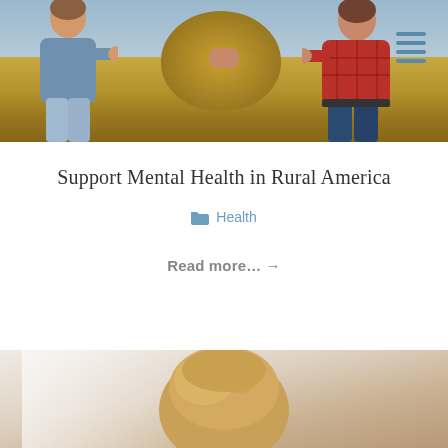[Figure (photo): Two people shaking hands in a rural farm field with hay bales, wearing casual farm attire — one in blue shirt, one in red plaid shirt. A menu (hamburger) icon appears in the top-right corner.]
Support Mental Health in Rural America
Health
Read more… →
[Figure (photo): Partial view of a person with blonde hair, appearing distressed or thoughtful, photographed from above/behind against a light background.]